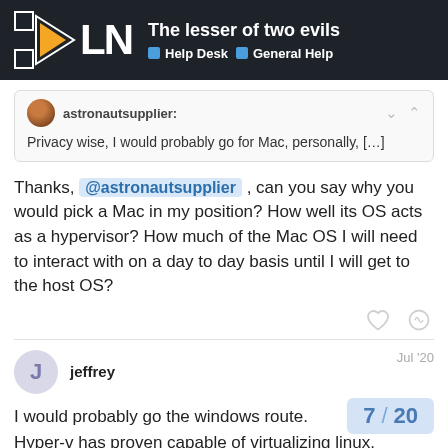The lesser of two evils | Help Desk | General Help
astronautsupplier: Privacy wise, I would probably go for Mac, personally, [...]
Thanks, @astronautsupplier , can you say why you would pick a Mac in my position? How well its OS acts as a hypervisor? How much of the Mac OS I will need to interact with on a day to day basis until I will get to the host OS?
jeffrey Jul '20
I would probably go the windows route.
Hyper-v has proven capable of virtualizing linux.
It's what azure does all the time.
7 / 20